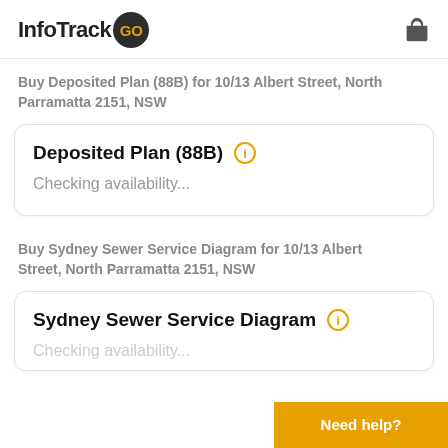[Figure (logo): InfoTrack GO logo with dark circular badge containing orange GO text]
Buy Deposited Plan (88B) for 10/13 Albert Street, North Parramatta 2151, NSW
Deposited Plan (88B)
Checking availability...
Buy Sydney Sewer Service Diagram for 10/13 Albert Street, North Parramatta 2151, NSW
Sydney Sewer Service Diagram
Checking availability...
Need help?